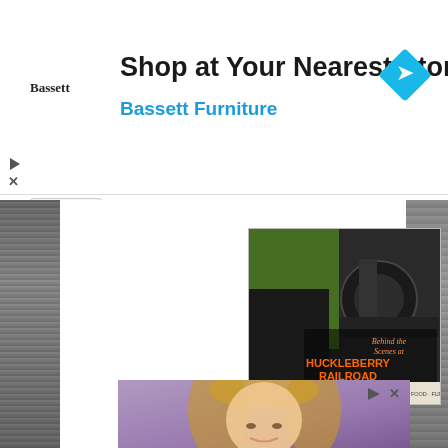[Figure (infographic): Bassett Furniture advertisement banner. Shows 'Bassett' logo text on left, large bold headline 'Shop at Your Nearest Store', subheadline in blue 'Bassett Furniture', and a cyan diamond navigation icon on the right. Play and X control icons bottom-left.]
[Figure (photo): Magazine cover of Greater Flint magazine, August 2022. Shows a mechanic in a yellow-green vest working on a steam locomotive engine. Text overlay reads 'Behind the Scenes at HUCKLEBERRY RAILROAD' in orange/gold lettering. Bottom bar reads 'GREATER FLINT - ARTS · EVENTS · HISTORY · OUTREACH · FOOD · FUN & MORE!']
[Figure (photo): Bottom advertisement showing a smiling blonde woman, partially visible, with a nature/garden background in purple-green tones. Small play and X icons in the top-right corner of the ad.]